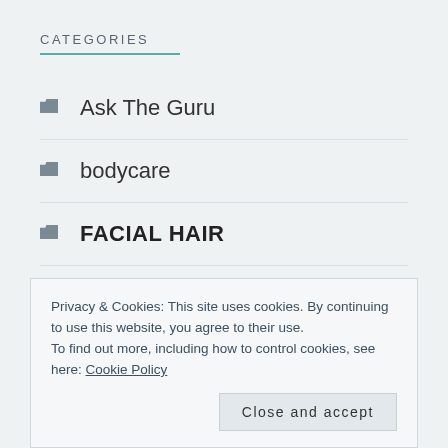CATEGORIES
Ask The Guru
bodycare
FACIAL HAIR
FACIAL HAIRCARE
Favourite products
Privacy & Cookies: This site uses cookies. By continuing to use this website, you agree to their use.
To find out more, including how to control cookies, see here: Cookie Policy
Close and accept